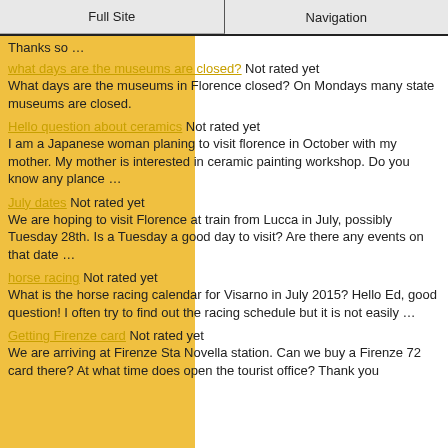Full Site | Navigation
Thanks so …
what days are the museums are closed? Not rated yet
What days are the museums in Florence closed? On Mondays many state museums are closed.
Hello question about ceramics Not rated yet
I am a Japanese woman planing to visit florence in October with my mother. My mother is interested in ceramic painting workshop. Do you know any plance …
July dates Not rated yet
We are hoping to visit Florence at train from Lucca in July, possibly Tuesday 28th. Is a Tuesday a good day to visit? Are there any events on that date …
horse racing Not rated yet
What is the horse racing calendar for Visarno in July 2015? Hello Ed, good question! I often try to find out the racing schedule but it is not easily …
Getting Firenze card Not rated yet
We are arriving at Firenze Sta Novella station. Can we buy a Firenze 72 card there? At what time does open the tourist office? Thank you